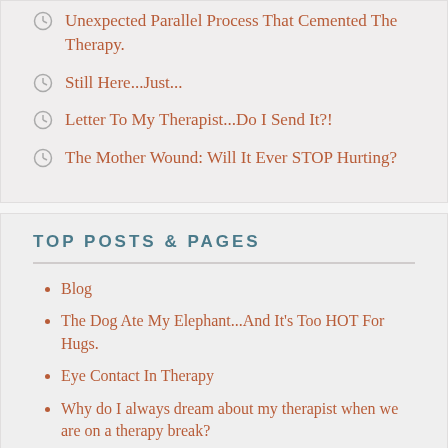Unexpected Parallel Process That Cemented The Therapy.
Still Here...Just...
Letter To My Therapist...Do I Send It?!
The Mother Wound: Will It Ever STOP Hurting?
TOP POSTS & PAGES
Blog
The Dog Ate My Elephant...And It's Too HOT For Hugs.
Eye Contact In Therapy
Why do I always dream about my therapist when we are on a therapy break?
Rupture. The cold, hard truth: my therapist doesn't